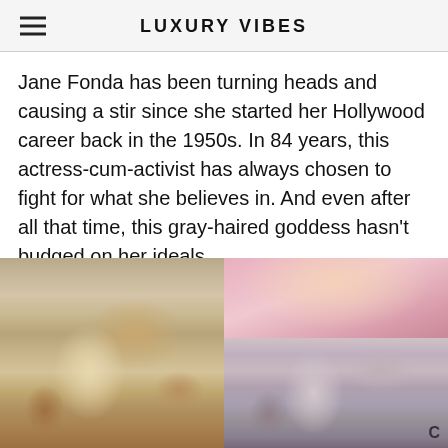LUXURY VIBES
Jane Fonda has been turning heads and causing a stir since she started her Hollywood career back in the 1950s. In 84 years, this actress-cum-activist has always chosen to fight for what she believes in. And even after all that time, this gray-haired goddess hasn’t budged on her ideals.
[Figure (photo): Side-by-side collage of two photos of Jane Fonda: left photo shows blonde hair, right photo shows gray hair against a pink background]